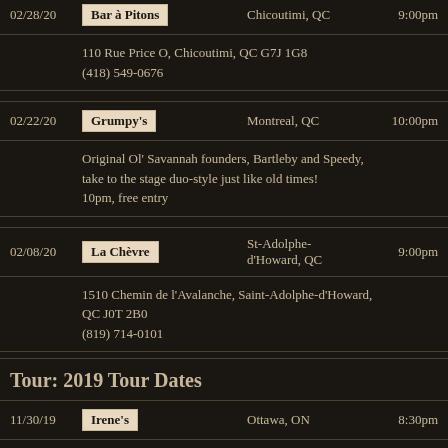02/28/20 | Bar à Pitons | Chicoutimi, QC | 9:00pm
110 Rue Price O, Chicoutimi, QC G7J 1G8
(418) 549-0676
02/22/20 | Grumpy's | Montreal, QC | 10:00pm
Original Ol' Savannah founders, Bartleby and Speedy, take to the stage duo-style just like old times! 10pm, free entry
02/08/20 | La Chèvre | St-Adolphe-d'Howard, QC | 9:00pm
1510 Chemin de l'Avalanche, Saint-Adolphe-d'Howard, QC J0T 2B0
(819) 714-0101
Tour: 2019 Tour Dates
11/30/19 | Irene's | Ottawa, ON | 8:30pm